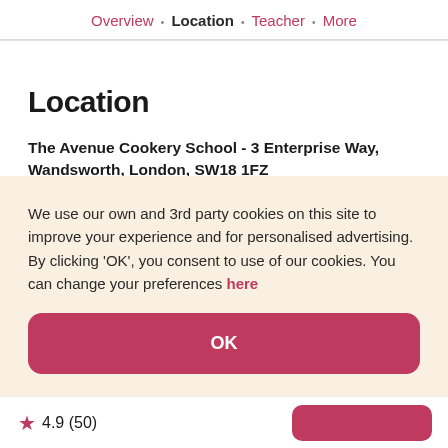Overview · Location · Teacher · More
Location
The Avenue Cookery School - 3 Enterprise Way, Wandsworth, London, SW18 1FZ
We use our own and 3rd party cookies on this site to improve your experience and for personalised advertising. By clicking 'OK', you consent to use of our cookies. You can change your preferences here
OK
★ 4.9 (50)